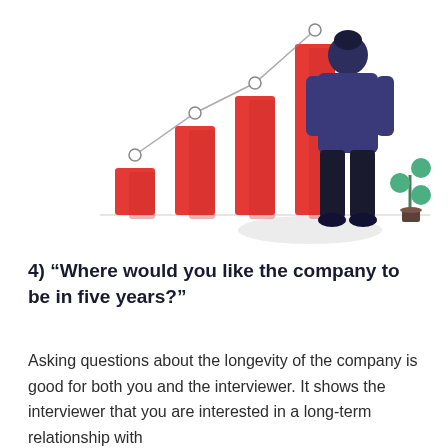[Figure (illustration): An illustration showing a businessman standing in front of a growing bar chart with an upward trending line. Red bars of increasing height from left to right. A small potted plant with green circular leaves is visible to the right. The man is shown from behind wearing a dark navy suit.]
4) "Where would you like the company to be in five years?"
Asking questions about the longevity of the company is good for both you and the interviewer. It shows the interviewer that you are interested in a long-term relationship with